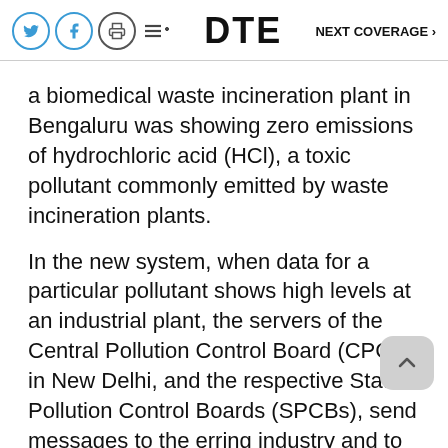DTE  NEXT COVERAGE >
a biomedical waste incineration plant in Bengaluru was showing zero emissions of hydrochloric acid (HCl), a toxic pollutant commonly emitted by waste incineration plants.
In the new system, when data for a particular pollutant shows high levels at an industrial plant, the servers of the Central Pollution Control Board (CPCB) in New Delhi, and the respective State Pollution Control Boards (SPCBs), send messages to the erring industry and to the machine vendor. This mechanism was supposed to strengthen the